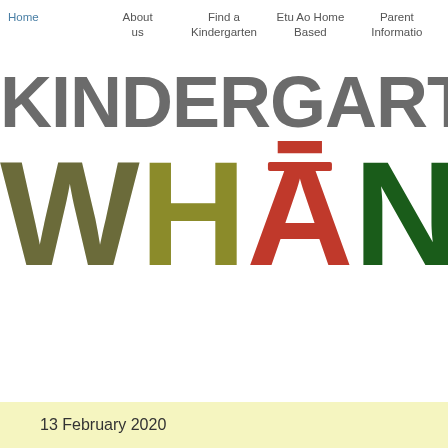Home | About us | Find a Kindergarten | Etu Ao Home Based | Parent Information
KINDERGARTEN - EDU
WHĀNAU
13 February 2020